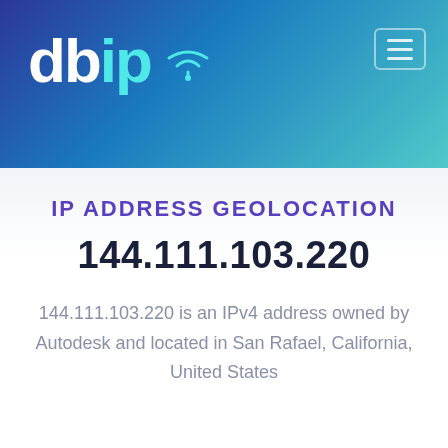[Figure (logo): db-ip logo with wifi signal arcs above the letter i, white and cyan text on blue-to-teal gradient header background, with a hamburger menu button in top right]
IP ADDRESS GEOLOCATION
144.111.103.220
144.111.103.220 is an IPv4 address owned by Autodesk and located in San Rafael, California, United States